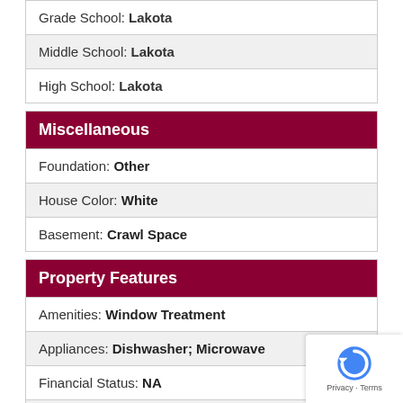Grade School: Lakota
Middle School: Lakota
High School: Lakota
Miscellaneous
Foundation: Other
House Color: White
Basement: Crawl Space
Property Features
Amenities: Window Treatment
Appliances: Dishwasher; Microwave
Financial Status: NA
Showing Instructions: Appointment Only; Showing Service